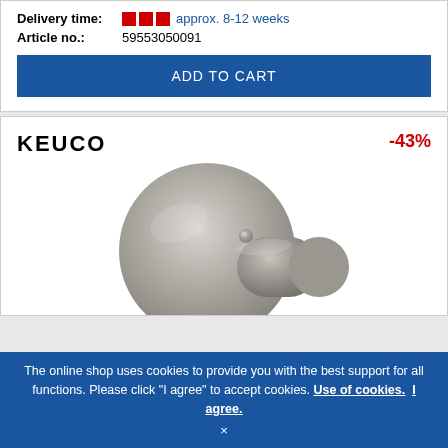Delivery time: approx. 8-12 weeks
Article no.: 59553050091
ADD TO CART
[Figure (photo): KEUCO branded product page showing a brushed nickel/stainless steel thermostatic shower valve or diverter knob with a round backplate and cylindrical handle, with -43% discount badge]
The online shop uses cookies to provide you with the best support for all functions. Please click "I agree" to accept cookies. Use of cookies. I agree. ×